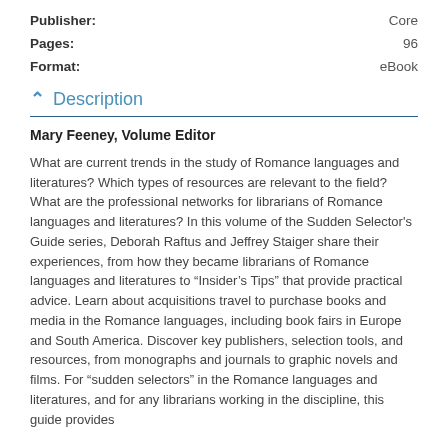Publisher: Core
Pages: 96
Format: eBook
Description
Mary Feeney, Volume Editor
What are current trends in the study of Romance languages and literatures? Which types of resources are relevant to the field? What are the professional networks for librarians of Romance languages and literatures? In this volume of the Sudden Selector's Guide series, Deborah Raftus and Jeffrey Staiger share their experiences, from how they became librarians of Romance languages and literatures to “Insider’s Tips” that provide practical advice. Learn about acquisitions travel to purchase books and media in the Romance languages, including book fairs in Europe and South America. Discover key publishers, selection tools, and resources, from monographs and journals to graphic novels and films. For “Sudden selectors” in the Romance languages and literatures, and for any librarians working in the discipline, this guide provides